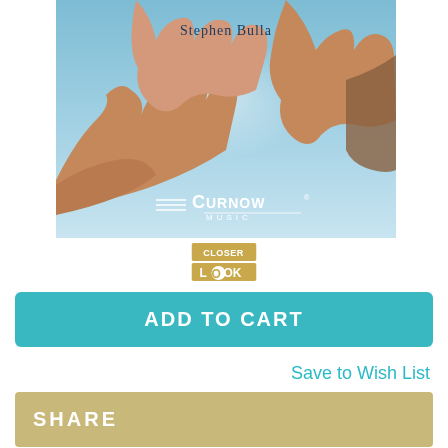[Figure (photo): Album cover for Stephen Bulla on Curnow Music, showing multiple hands raised against a blue sky background with Curnow Music logo]
[Figure (logo): Closer Look button logo in gold/tan color]
ADD TO CART
Save to Wish List
SHARE